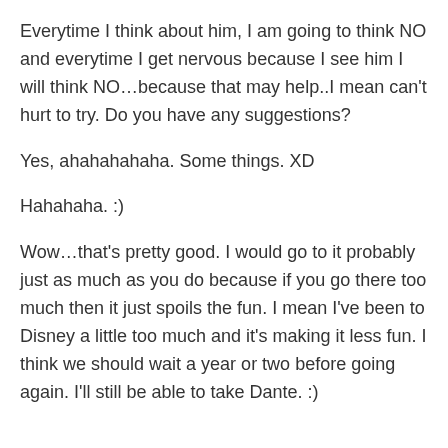Everytime I think about him, I am going to think NO and everytime I get nervous because I see him I will think NO…because that may help..I mean can't hurt to try. Do you have any suggestions?
Yes, ahahahahaha. Some things. XD
Hahahaha. :)
Wow…that's pretty good. I would go to it probably just as much as you do because if you go there too much then it just spoils the fun. I mean I've been to Disney a little too much and it's making it less fun. I think we should wait a year or two before going again. I'll still be able to take Dante. :)